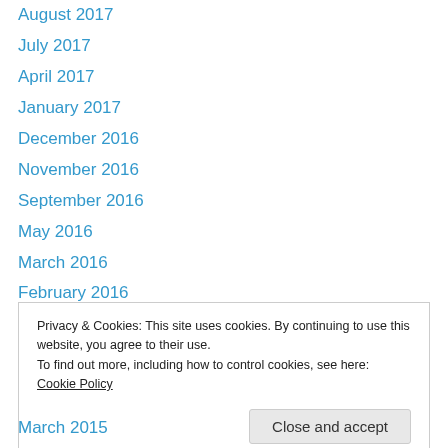August 2017
July 2017
April 2017
January 2017
December 2016
November 2016
September 2016
May 2016
March 2016
February 2016
January 2016
December 2015
November 2015
Privacy & Cookies: This site uses cookies. By continuing to use this website, you agree to their use.
To find out more, including how to control cookies, see here: Cookie Policy
March 2015